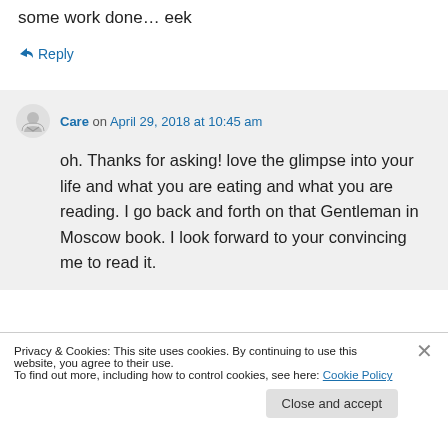some work done… eek
↪ Reply
Care on April 29, 2018 at 10:45 am
oh. Thanks for asking! love the glimpse into your life and what you are eating and what you are reading. I go back and forth on that Gentleman in Moscow book. I look forward to your convincing me to read it.
Privacy & Cookies: This site uses cookies. By continuing to use this website, you agree to their use.
To find out more, including how to control cookies, see here: Cookie Policy
Close and accept